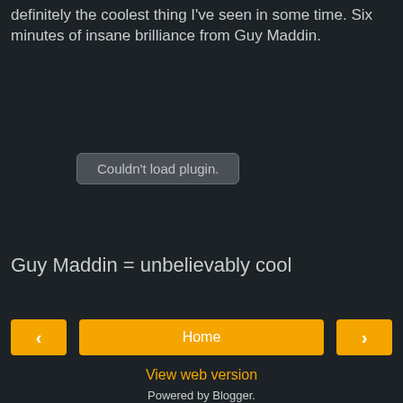definitely the coolest thing I've seen in some time. Six minutes of insane brilliance from Guy Maddin.
[Figure (other): Embedded plugin area showing 'Couldn't load plugin.' error message in a rounded grey box on a dark background]
Guy Maddin = unbelievably cool
< | Home | >
View web version
Powered by Blogger.